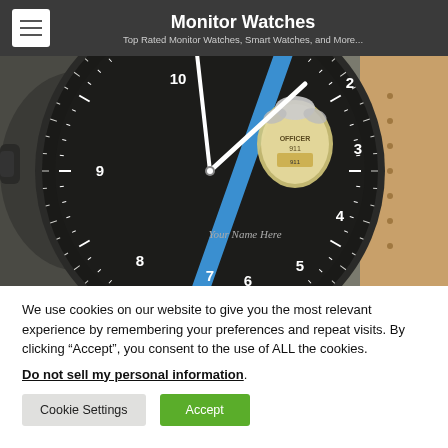Monitor Watches — Top Rated Monitor Watches, Smart Watches, and More...
[Figure (photo): Close-up of a black military-style watch face showing numbers 3-10 visible, a blue diagonal stripe across the dial, an officer badge emblem reading 'OFFICER 911', text 'Your Name Here' in italic, and white tick marks on the bezel. A tan leather strap is partially visible on the right.]
We use cookies on our website to give you the most relevant experience by remembering your preferences and repeat visits. By clicking “Accept”, you consent to the use of ALL the cookies.
Do not sell my personal information.